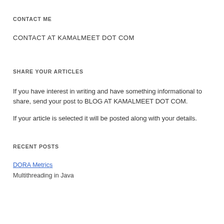CONTACT ME
CONTACT AT KAMALMEET DOT COM
SHARE YOUR ARTICLES
If you have interest in writing and have something informational to share, send your post to BLOG AT KAMALMEET DOT COM.
If your article is selected it will be posted along with your details.
RECENT POSTS
DORA Metrics
Multithreading in Java